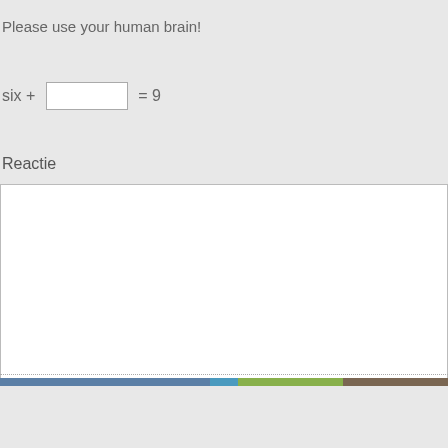Please use your human brain!
six + [input box] = 9
Reactie
Post!
I'm invincible! I join the seven2success community!